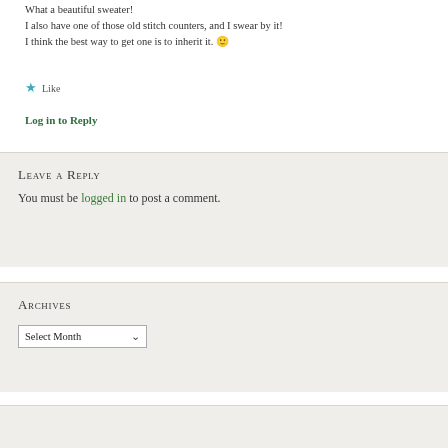What a beautiful sweater!
I also have one of those old stitch counters, and I swear by it!
I think the best way to get one is to inherit it. 🙂
★ Like
Log in to Reply
Leave a Reply
You must be logged in to post a comment.
Archives
Select Month